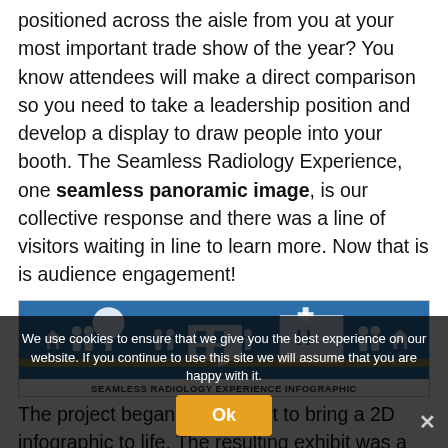positioned across the aisle from you at your most important trade show of the year? You know attendees will make a direct comparison so you need to take a leadership position and develop a display to draw people into your booth. The Seamless Radiology Experience, one seamless panoramic image, is our collective response and there was a line of visitors waiting in line to learn more. Now that is is audience engagement!
[Figure (infographic): Blue infographic banner showing silhouettes of people, trees, houses, and a hospital building labeled H]
SEAMLESS RADIOLOGY EXPERIENCE INFOGRAPHIC
The project began as an effort to bring a 2D infographic to life. The resulting exhibit was a